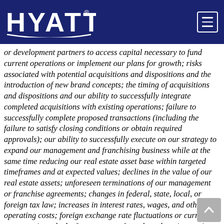HYATT
or development partners to access capital necessary to fund current operations or implement our plans for growth; risks associated with potential acquisitions and dispositions and the introduction of new brand concepts; the timing of acquisitions and dispositions and our ability to successfully integrate completed acquisitions with existing operations; failure to successfully complete proposed transactions (including the failure to satisfy closing conditions or obtain required approvals); our ability to successfully execute on our strategy to expand our management and franchising business while at the same time reducing our real estate asset base within targeted timeframes and at expected values; declines in the value of our real estate assets; unforeseen terminations of our management or franchise agreements; changes in federal, state, local, or foreign tax law; increases in interest rates, wages, and other operating costs; foreign exchange rate fluctuations or currency restructurings; lack of acceptance of new brands or innovation; general volatility of the capital markets and our ability to access such markets; changes in the competitive environment in our industry, including